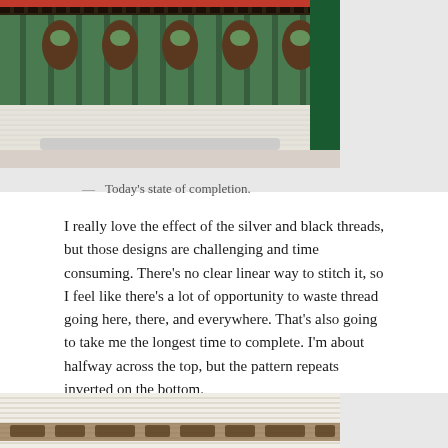[Figure (photo): Close-up photograph of a cross-stitch or needlepoint work in progress showing a decorative pattern with red top border, dark brown geometric elements, and green striped sections with floral motifs. The bottom portion shows the canvas mesh.]
— Today's state of completion.
I really love the effect of the silver and black threads, but those designs are challenging and time consuming. There's no clear linear way to stitch it, so I feel like there's a lot of opportunity to waste thread going here, there, and everywhere. That's also going to take me the longest time to complete. I'm about halfway across the top, but the pattern repeats inverted on the bottom.
[Figure (photo): Partial view of another cross-stitch or needlepoint piece showing the canvas with a tan/brown stitched pattern visible at the bottom of the page.]